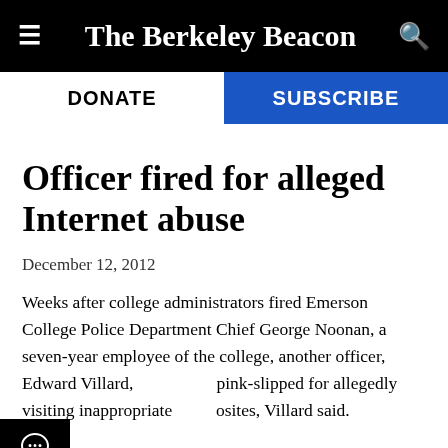The Berkeley Beacon
DONATE   SUBSCRIBE
Officer fired for alleged Internet abuse
December 12, 2012
Weeks after college administrators fired Emerson College Police Department Chief George Noonan, a seven-year employee of the college, another officer, Edward Villard, [was] pink-slipped for allegedly visiting inappropriate [web]sites, Villard said. [No]w, Villard said Noonan's firing — which students and